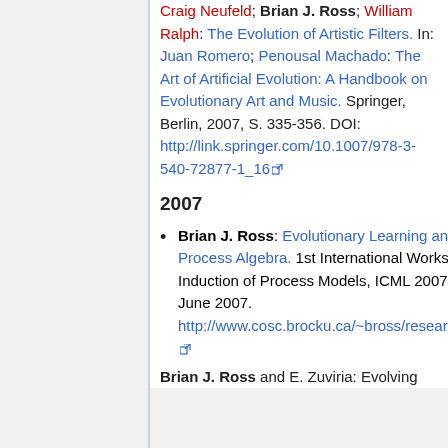Craig Neufeld; Brian J. Ross; William Ralph: The Evolution of Artistic Filters. In: Juan Romero; Penousal Machado: The Art of Artificial Evolution: A Handbook on Evolutionary Art and Music. Springer, Berlin, 2007, S. 335-356. DOI: http://link.springer.com/10.1007/978-3-540-72877-1_16
2007
Brian J. Ross: Evolutionary Learning and Stochastic Process Algebra. 1st International Workshop on Induction of Process Models, ICML 2007, Corvallis, OR, June 2007. http://www.cosc.brocku.ca/~bross/research/icml07ws.pdf
Brian J. Ross and E. Zuviria: Evolving